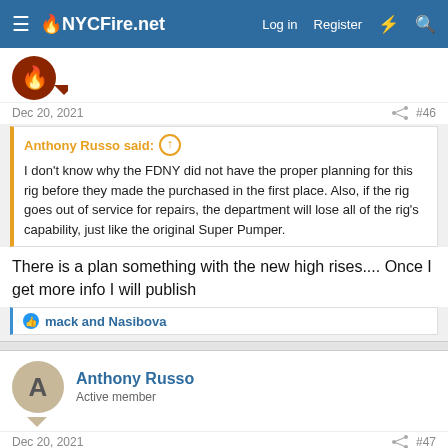NYCFire.net  Log in  Register
Dec 20, 2021  #46
Anthony Russo said: I don't know why the FDNY did not have the proper planning for this rig before they made the purchased in the first place. Also, if the rig goes out of service for repairs, the department will lose all of the rig's capability, just like the original Super Pumper.
There is a plan something with the new high rises.... Once I get more info I will publish
mack and Nasibova
Anthony Russo
Active member
Dec 20, 2021  #47